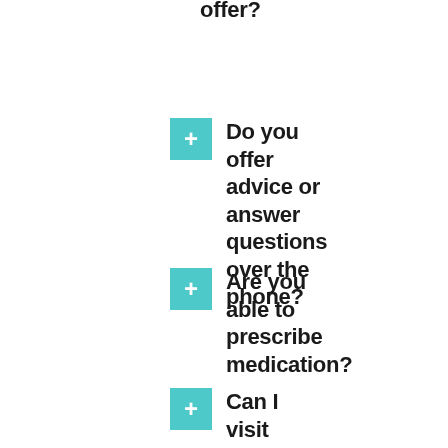offer?
Do you offer advice or answer questions over the phone?
Are you able to prescribe medication?
Can I visit your